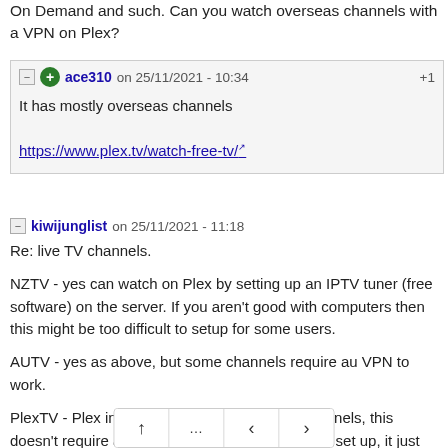On Demand and such. Can you watch overseas channels with a VPN on Plex?
ace310 on 25/11/2021 - 10:34  +1
It has mostly overseas channels
https://www.plex.tv/watch-free-tv/
kiwijunglist on 25/11/2021 - 11:18
Re: live TV channels.

NZTV - yes can watch on Plex by setting up an IPTV tuner (free software) on the server. If you aren't good with computers then this might be too difficult to setup for some users.

AUTV - yes as above, but some channels require au VPN to work.

PlexTV - Plex includes a lot of overseas TV channels, this doesn't require a VPN or any additional software set up, it just wor